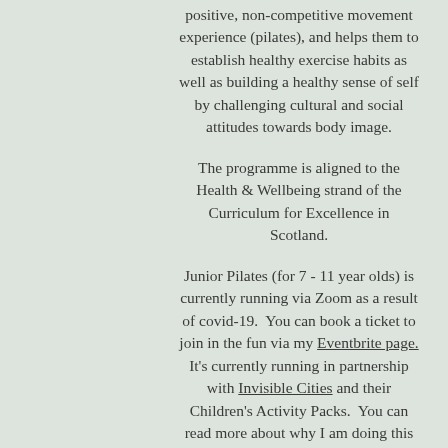positive, non-competitive movement experience (pilates), and helps them to establish healthy exercise habits as well as building a healthy sense of self by challenging cultural and social attitudes towards body image.
The programme is aligned to the Health & Wellbeing strand of the Curriculum for Excellence in Scotland.
Junior Pilates (for 7 - 11 year olds) is currently running via Zoom as a result of covid-19. You can book a ticket to join in the fun via my Eventbrite page. It's currently running in partnership with Invisible Cities and their Children's Activity Packs. You can read more about why I am doing this over on my blog.
Teen Pilates is offered on a Monday